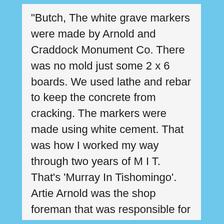"Butch, The white grave markers were made by Arnold and Craddock Monument Co. There was no mold just some 2 x 6 boards. We used lathe and rebar to keep the concrete from cracking. The markers were made using white cement. That was how I worked my way through two years of M I T. That's 'Murray In Tishomingo'. Artie Arnold was the shop foreman that was responsible for carving the monuments, adding dates to stones already set in the cemetery and the white markers. They were built on the south side of the old sheet metal building and the best I can remember now they were built on